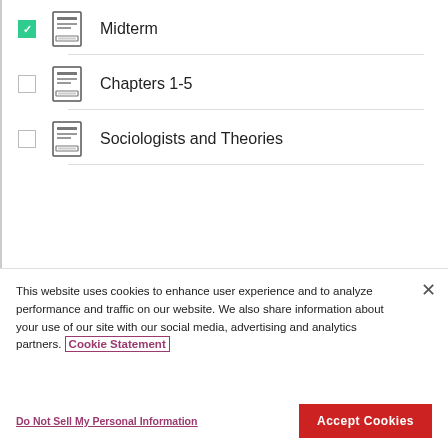Midterm
Chapters 1-5
Sociologists and Theories
This website uses cookies to enhance user experience and to analyze performance and traffic on our website. We also share information about your use of our site with our social media, advertising and analytics partners. Cookie Statement
Do Not Sell My Personal Information
Accept Cookies